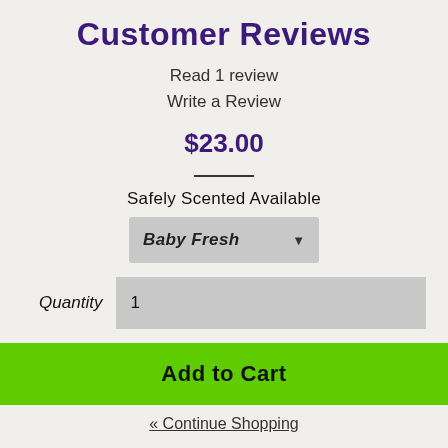Customer Reviews
Read 1 review
Write a Review
$23.00
Safely Scented Available
Baby Fresh
Quantity  1
Add to Cart
« Continue Shopping